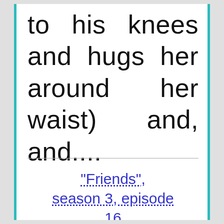to his knees and hugs her around her waist) and, and....
"Friends", season 3, episode 16